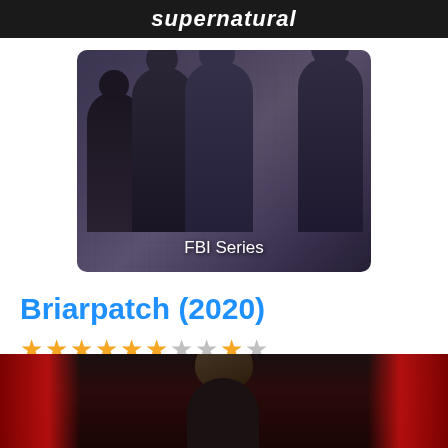[Figure (screenshot): Top dark banner with 'supernatural' text partially visible]
[Figure (screenshot): Promotional card image for FBI Series showing four cast members in dark suits against a stone/brick background with 'FBI Series' text overlay]
Briarpatch (2020)
[Figure (infographic): Star rating: 6 out of 10 stars (6 filled gold stars, 4 empty gray stars)]
[Figure (photo): Bottom portion of a person's head and shoulders against a dark background with red curtains/draping on the sides]